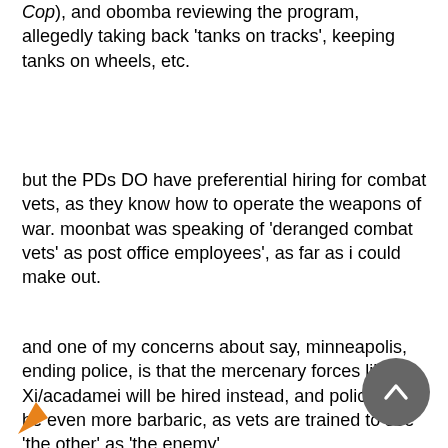Cop), and obomba reviewing the program, allegedly taking back 'tanks on tracks', keeping tanks on wheels, etc.
but the PDs DO have preferential hiring for combat vets, as they know how to operate the weapons of war. moonbat was speaking of 'deranged combat vets' as post office employees', as far as i could make out.
and one of my concerns about say, minneapolis, ending police, is that the mercenary forces like Xi/acadamei will be hired instead, and policing will be even more barbaric, as vets are trained to see 'the other' as 'the enemy'.